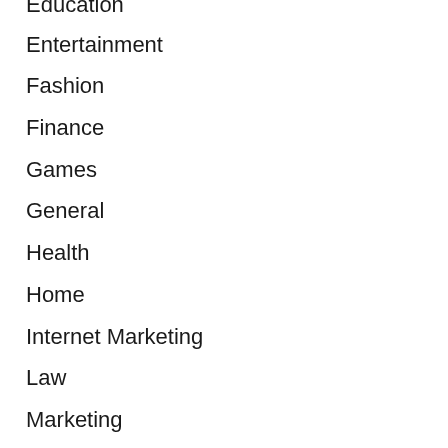Education
Entertainment
Fashion
Finance
Games
General
Health
Home
Internet Marketing
Law
Marketing
Pets
Real Estate
SEO
Shopping